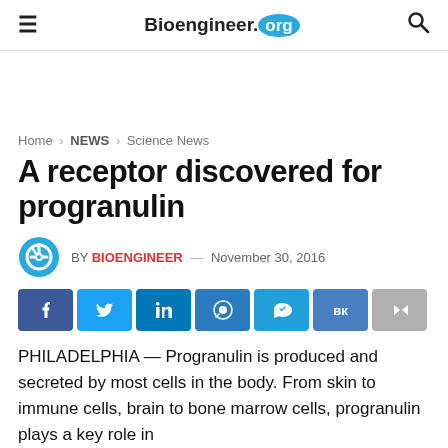Bioengineer.org
Home > NEWS > Science News
A receptor discovered for progranulin
BY BIOENGINEER — November 30, 2016
[Figure (other): Social share buttons: Facebook, Twitter, LinkedIn, Reddit, Telegram, VK, Share]
PHILADELPHIA — Progranulin is produced and secreted by most cells in the body. From skin to immune cells, brain to bone marrow cells, progranulin plays a key role in